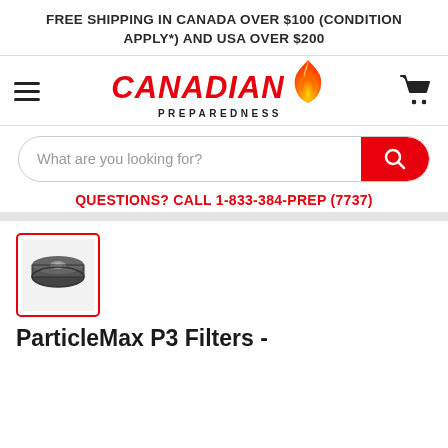FREE SHIPPING IN CANADA OVER $100 (CONDITION APPLY*) AND USA OVER $200
[Figure (logo): Canadian Preparedness logo with red italic text CANADIAN, black text PREPAREDNESS, and an orange/yellow flame icon]
[Figure (other): Search bar with placeholder text 'What are you looking for?' and a red rounded search button with magnifying glass icon]
QUESTIONS? CALL 1-833-384-PREP (7737)
[Figure (photo): Thumbnail image of a ParticleMax P3 filter — circular black respirator filter disc viewed from above, with red border around thumbnail]
ParticleMax P3 Filters -